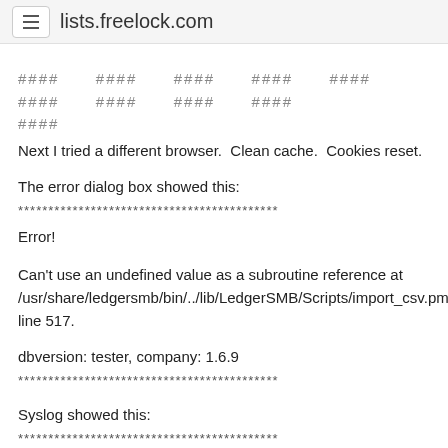lists.freelock.com
#### #### #### #### #### #### #### #### #### ####
Next I tried a different browser.  Clean cache.  Cookies reset.
The error dialog box showed this:
*******************************************
Error!
Can't use an undefined value as a subroutine reference at /usr/share/ledgersmb/bin/../lib/LedgerSMB/Scripts/import_csv.pm line 517.
dbversion: tester, company: 1.6.9
*******************************************
Syslog showed this:
*******************************************
Feb 18 01:32:11 host-smb starman[332]: